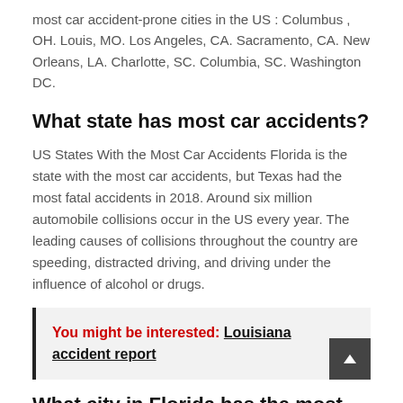most car accident-prone cities in the US : Columbus , OH. Louis, MO. Los Angeles, CA. Sacramento, CA. New Orleans, LA. Charlotte, SC. Columbia, SC. Washington DC.
What state has most car accidents?
US States With the Most Car Accidents Florida is the state with the most car accidents, but Texas had the most fatal accidents in 2018. Around six million automobile collisions occur in the US every year. The leading causes of collisions throughout the country are speeding, distracted driving, and driving under the influence of alcohol or drugs.
You might be interested: Louisiana accident report
What city in Florida has the most car accidents?
First Most Accidents Reported in Florida: Miami-Dade